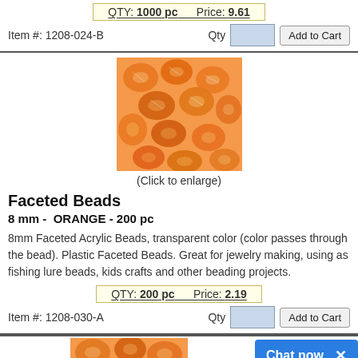QTY: 1000 pc    Price: 9.61
Item #: 1208-024-B
[Figure (photo): Orange faceted acrylic beads, transparent, loose pile]
(Click to enlarge)
Faceted Beads
8 mm -  ORANGE - 200 pc
8mm Faceted Acrylic Beads, transparent color (color passes through the bead). Plastic Faceted Beads. Great for jewelry making, using as fishing lure beads, kids crafts and other beading projects.
QTY: 200 pc    Price: 2.19
Item #: 1208-030-A
[Figure (photo): Orange faceted acrylic beads, partial view at bottom of page]